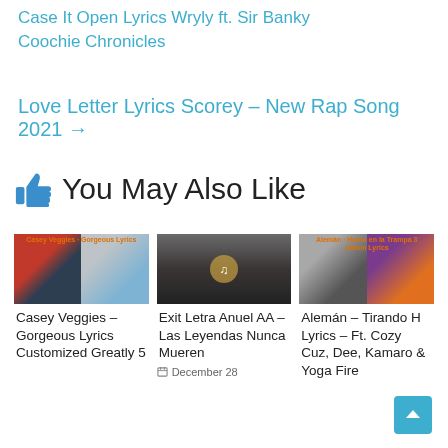Case It Open Lyrics Wryly ft. Sir Banky Coochie Chronicles
Love Letter Lyrics Scorey – New Rap Song 2021 →
👍 You May Also Like
[Figure (photo): Casey Veggies - Gorgeous Lyrics card image with two photos side by side]
Casey Veggies – Gorgeous Lyrics Customized Greatly 5
[Figure (photo): Exit Letra Anuel AA – Las Leyendas Nunca Mueren card image with musician playing trumpet]
Exit Letra Anuel AA – Las Leyendas Nunca Mueren
December 28
[Figure (photo): Alemán – Humo en la Trampa 3 Album Lyrics card image with two photos side by side]
Alemán – Tirando H Lyrics – Ft. Cozy Cuz, Dee, Kamaro & Yoga Fire